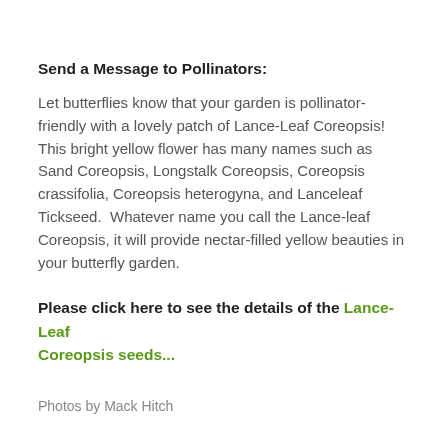Send a Message to Pollinators:
Let butterflies know that your garden is pollinator-friendly with a lovely patch of Lance-Leaf Coreopsis!  This bright yellow flower has many names such as Sand Coreopsis, Longstalk Coreopsis, Coreopsis crassifolia, Coreopsis heterogyna, and Lanceleaf Tickseed.  Whatever name you call the Lance-leaf Coreopsis, it will provide nectar-filled yellow beauties in your butterfly garden.
Please click here to see the details of the Lance-Leaf Coreopsis seeds...
Photos by Mack Hitch